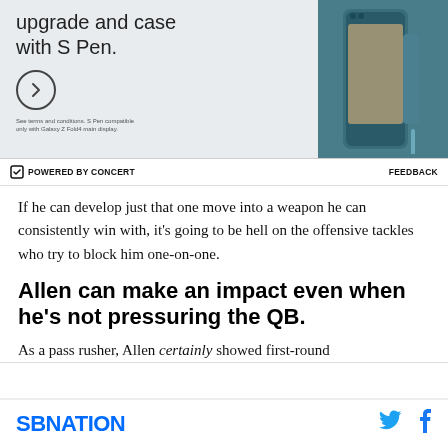[Figure (photo): Samsung Galaxy Z Fold4 advertisement showing phone with S Pen. Text reads 'upgrade and case with S Pen.' with a circle arrow button and fine print about terms and conditions.]
POWERED BY CONCERT    FEEDBACK
If he can develop just that one move into a weapon he can consistently win with, it's going to be hell on the offensive tackles who try to block him one-on-one.
Allen can make an impact even when he's not pressuring the QB.
As a pass rusher, Allen certainly showed first-round
SBNATION